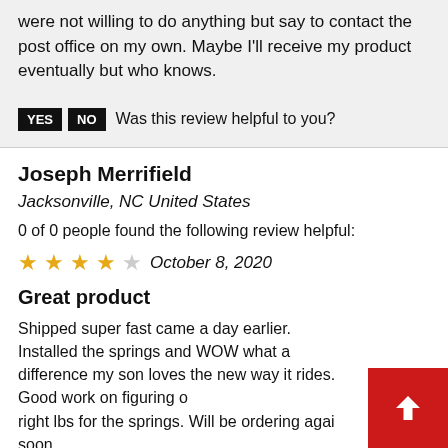were not willing to do anything but say to contact the post office on my own. Maybe I'll receive my product eventually but who knows.
YES  NO  Was this review helpful to you?
Joseph Merrifield
Jacksonville, NC United States
0 of 0 people found the following review helpful:
★★★★☆  October 8, 2020
Great product
Shipped super fast came a day earlier. Installed the springs and WOW what a difference my son loves the new way it rides. Good work on figuring out the right lbs for the springs. Will be ordering again soon.